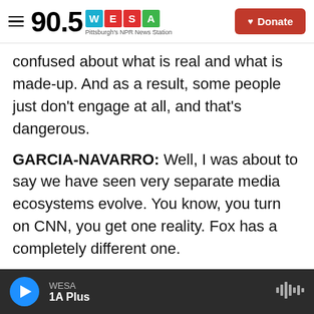90.5 WESA — Pittsburgh's NPR News Station | Donate
confused about what is real and what is made-up. And as a result, some people just don't engage at all, and that's dangerous.
GARCIA-NAVARRO: Well, I was about to say we have seen very separate media ecosystems evolve. You know, you turn on CNN, you get one reality. Fox has a completely different one.
STELTER: It is a really discouraging trend because the greatest hoax of all the last few years has been Trump and Fox working together to distract the public, deflect from Trump's own real scandals by
WESA | 1A Plus